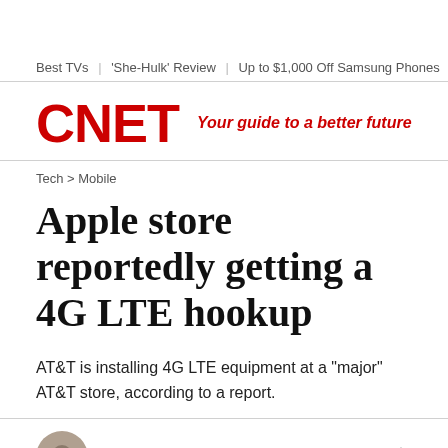Best TVs | 'She-Hulk' Review | Up to $1,000 Off Samsung Phones | B
[Figure (logo): CNET logo in red bold text with tagline 'Your guide to a better future' in red italic]
Tech > Mobile
Apple store reportedly getting a 4G LTE hookup
AT&T is installing 4G LTE equipment at a "major" AT&T store, according to a report.
Roger Cheng